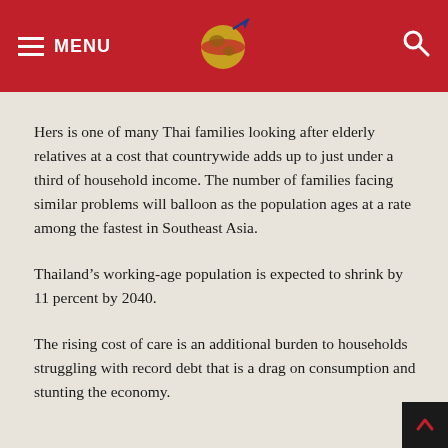MENU [globe logo] [search icon]
Hers is one of many Thai families looking after elderly relatives at a cost that countrywide adds up to just under a third of household income. The number of families facing similar problems will balloon as the population ages at a rate among the fastest in Southeast Asia.
Thailand’s working-age population is expected to shrink by 11 percent by 2040.
The rising cost of care is an additional burden to households struggling with record debt that is a drag on consumption and stunting the economy.